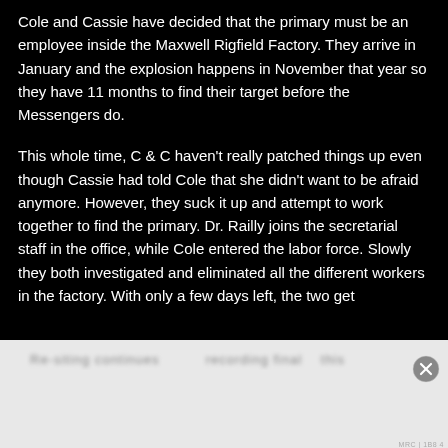Cole and Cassie have decided that the primary must be an employee inside the Maxwell Rigfield Factory. They arrive in January and the explosion happens in November that year so they have 11 months to find their target before the Messengers do.
This whole time, C & C haven't really patched things up even though Cassie had told Cole that she didn't want to be afraid anymore. However, they suck it up and attempt to work together to find the primary. Dr. Railly joins the secretarial staff in the office, while Cole entered the labor force. Slowly they both investigated and eliminated all the different workers in the factory. With only a few days left, the two get
[Figure (other): DuckDuckGo advertisement banner: orange left section with text 'Search, browse, and email with more privacy.' and 'All in One Free App', dark right section with DuckDuckGo duck logo and 'DuckDuckGo' text. Preceded by 'Advertisements' label and a close (X) button.]